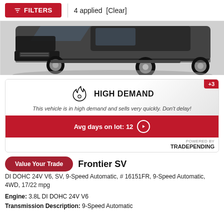FILTERS | 4 applied [Clear]
[Figure (photo): Partial view of a dark green/black pickup truck (Nissan Frontier), showing the front bumper, grille, wheels and lower body]
HIGH DEMAND
This vehicle is in high demand and sells very quickly. Don't delay!
Avg days on lot: 12
POWERED BY TRADE PENDING
+3
Value Your Trade
Frontier SV
DI DOHC 24V V6, SV, 9-Speed Automatic, # 16151FR, 9-Speed Automatic, 4WD, 17/22 mpg
Engine: 3.8L DI DOHC 24V V6
Transmission Description: 9-Speed Automatic